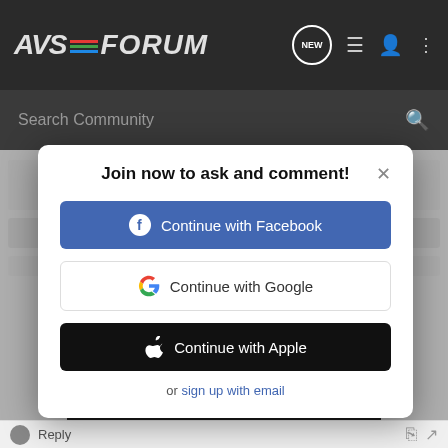AVSForum
Search Community
Join now to ask and comment!
Continue with Facebook
Continue with Google
Continue with Apple
or sign up with email
[Figure (screenshot): AVSForum modal dialog with social login options: Facebook, Google, Apple, and sign up with email link]
IT'S SIMPLY A MATTER OF TIME. Introducing the new NAD Masters M33 Amplifier. DISCOVER
Reply